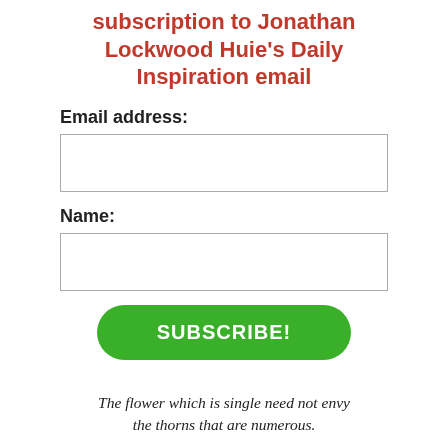subscription to Jonathan Lockwood Huie's Daily Inspiration email
Email address:
Name:
SUBSCRIBE!
The flower which is single need not envy the thorns that are numerous.